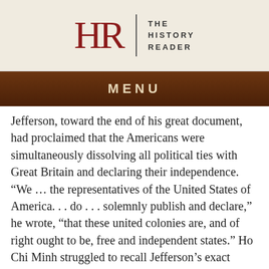HR | THE HISTORY READER
MENU
Jefferson, toward the end of his great document, had proclaimed that the Americans were simultaneously dissolving all political ties with Great Britain and declaring their independence. “We … the representatives of the United States of America. . . do . . . solemnly publish and declare,” he wrote, “that these united colonies are, and of right ought to be, free and independent states.” Ho Chi Minh struggled to recall Jefferson’s exact words. “We, the members of the provisional government of the democratic republic of Vietnam proclaim solemnly to the entire world: Viet Nam has the right to be free and independent, and, in fact, has become a free and independent country.”